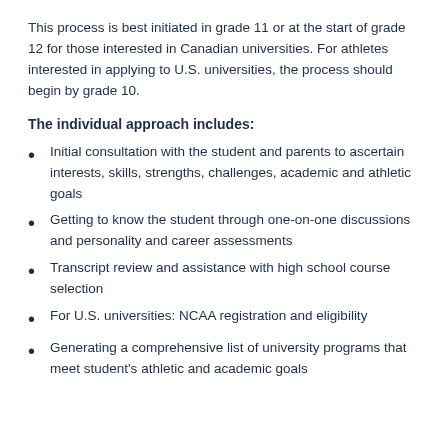This process is best initiated in grade 11 or at the start of grade 12 for those interested in Canadian universities. For athletes interested in applying to U.S. universities, the process should begin by grade 10.
The individual approach includes:
Initial consultation with the student and parents to ascertain interests, skills, strengths, challenges, academic and athletic goals
Getting to know the student through one-on-one discussions and personality and career assessments
Transcript review and assistance with high school course selection
For U.S. universities: NCAA registration and eligibility
Generating a comprehensive list of university programs that meet student's athletic and academic goals